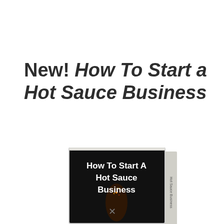New! How To Start a Hot Sauce Business
[Figure (illustration): A 3D book cover angled slightly, with dark/black background, showing white text 'How To Start A Hot Sauce Business' with a chili pepper graphic]